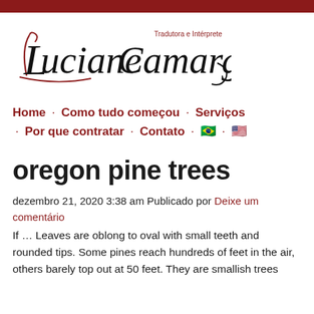[Figure (logo): Luciane Camargo - Tradutora e Intérprete handwritten/script logo in black and dark red]
Home · Como tudo começou · Serviços · Por que contratar · Contato · [BR flag] · [US flag]
oregon pine trees
dezembro 21, 2020 3:38 am Publicado por Deixe um comentário
If … Leaves are oblong to oval with small teeth and rounded tips. Some pines reach hundreds of feet in the air, others barely top out at 50 feet. They are smallish trees